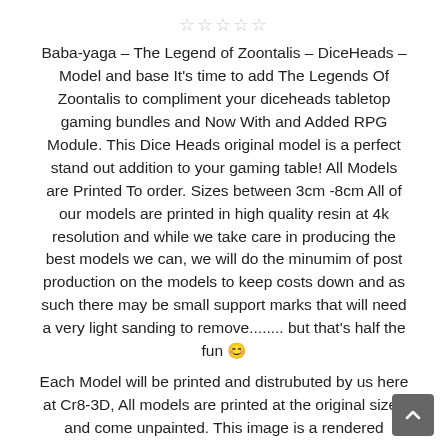[Figure (other): Five empty star rating icons in a row]
Baba-yaga – The Legend of Zoontalis – DiceHeads – Model and base It's time to add The Legends Of Zoontalis to compliment your diceheads tabletop gaming bundles and Now With and Added RPG Module. This Dice Heads original model is a perfect stand out addition to your gaming table! All Models are Printed To order. Sizes between 3cm -8cm All of our models are printed in high quality resin at 4k resolution and while we take care in producing the best models we can, we will do the minumim of post production on the models to keep costs down and as such there may be small support marks that will need a very light sanding to remove........ but that's half the fun 😊
Each Model will be printed and distrubuted by us here at Cr8-3D, All models are printed at the original sizes and come unpainted. This image is a rendered